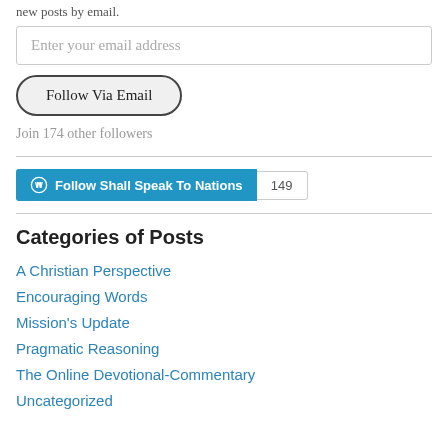new posts by email.
Enter your email address
Follow Via Email
Join 174 other followers
[Figure (other): WordPress Follow button showing 'Follow Shall Speak To Nations' with count badge showing 149]
Categories of Posts
A Christian Perspective
Encouraging Words
Mission's Update
Pragmatic Reasoning
The Online Devotional-Commentary
Uncategorized